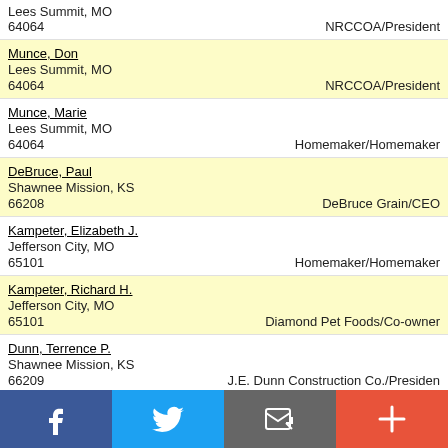Lees Summit, MO
64064	NRCCOA/President
Munce, Don
Lees Summit, MO
64064	NRCCOA/President
Munce, Marie
Lees Summit, MO
64064	Homemaker/Homemaker
DeBruce, Paul
Shawnee Mission, KS
66208	DeBruce Grain/CEO
Kampeter, Elizabeth J.
Jefferson City, MO
65101	Homemaker/Homemaker
Kampeter, Richard H.
Jefferson City, MO
65101	Diamond Pet Foods/Co-owner
Dunn, Terrence P.
Shawnee Mission, KS
66209	J.E. Dunn Construction Co./President
Ferguson, John H.
Liberty, MO
64068	Self Employed/Developer
Patterson, Jeanne Lillig
Belton, MO